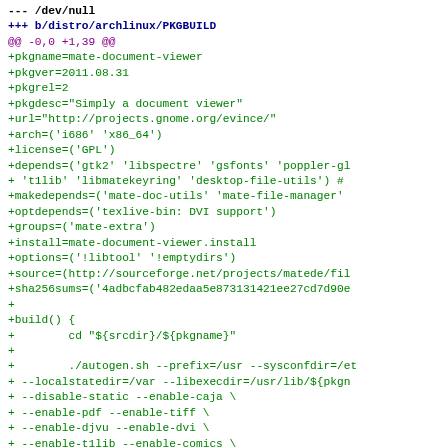--- /dev/null
+++ b/distro/archlinux/PKGBUILD
@@ -0,0 +1,39 @@
+pkgname=mate-document-viewer
+pkgver=2011.08.31
+pkgrel=2
+pkgdesc="Simply a document viewer"
+url="http://projects.gnome.org/evince/"
+arch=('i686' 'x86_64')
+license=('GPL')
+depends=('gtk2' 'libspectre' 'gsfonts' 'poppler-gl
+ 't1lib' 'libmatekeyring' 'desktop-file-utils') #
+makedepends=('mate-doc-utils' 'mate-file-manager'
+optdepends=('texlive-bin: DVI support')
+groups=('mate-extra')
+install=mate-document-viewer.install
+options=('!libtool' '!emptydirs')
+source=(http://sourceforge.net/projects/matede/fil
+sha256sums=('4adbcfab482edaa5e873131421ee27cd7d90e
+
+build() {
+        cd "${srcdir}/${pkgname}"
+
+        ./autogen.sh --prefix=/usr --sysconfdir=/et
+ --localstatedir=/var --libexecdir=/usr/lib/${pkgn
+ --disable-static --enable-caja \
+ --enable-pdf --enable-tiff \
+ --enable-djvu --enable-dvi \
+ --enable-t1lib --enable-comics \
+ --disable-scrollkeeper \